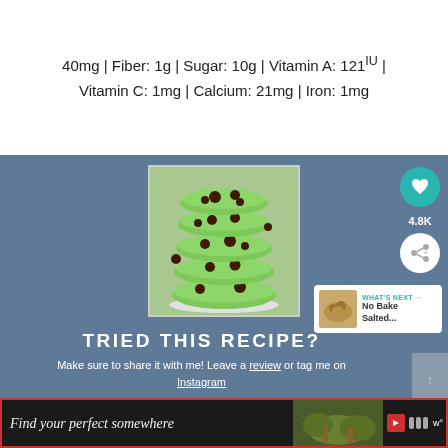40mg | Fiber: 1g | Sugar: 10g | Vitamin A: 121IU | Vitamin C: 1mg | Calcium: 21mg | Iron: 1mg
[Figure (photo): Stack of green mint chocolate chip cookies on a white plate, photographed from the side]
TRIED THIS RECIPE?
Make sure to share it with me! Leave a review or tag me on Instagram
LEAVE A REVIEW
TAG ME!
[Figure (photo): Advertisement banner: Find your perfect somewhere]